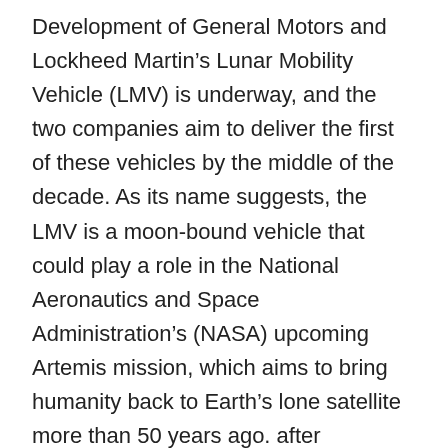Development of General Motors and Lockheed Martin's Lunar Mobility Vehicle (LMV) is underway, and the two companies aim to deliver the first of these vehicles by the middle of the decade. As its name suggests, the LMV is a moon-bound vehicle that could play a role in the National Aeronautics and Space Administration's (NASA) upcoming Artemis mission, which aims to bring humanity back to Earth's lone satellite more than 50 years ago. after completing the Apollo missions.
That said, there are no guarantees that this jointly developed lunar rover will win the NASA contract and make the trip. To date, NASA has released a Request for Information (RFI) for what it calls the Lunar Terrain Vehicle (LTV) for the mission. The US space agency